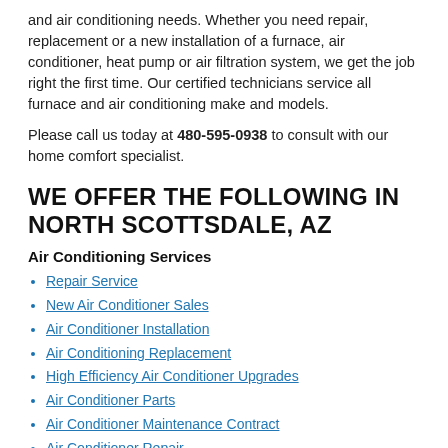and air conditioning needs. Whether you need repair, replacement or a new installation of a furnace, air conditioner, heat pump or air filtration system, we get the job right the first time. Our certified technicians service all furnace and air conditioning make and models.
Please call us today at 480-595-0938 to consult with our home comfort specialist.
WE OFFER THE FOLLOWING IN NORTH SCOTTSDALE, AZ
Air Conditioning Services
Repair Service
New Air Conditioner Sales
Air Conditioner Installation
Air Conditioning Replacement
High Efficiency Air Conditioner Upgrades
Air Conditioner Parts
Air Conditioner Maintenance Contract
Air Conditioner Repair